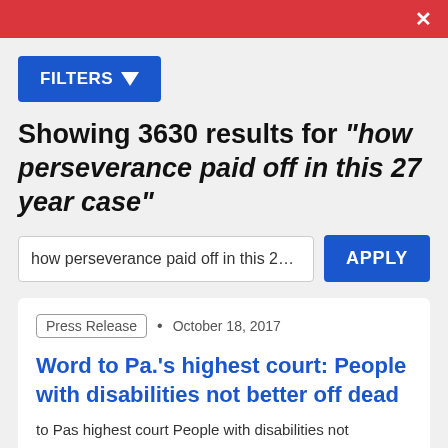✕
FILTERS ▼
Showing 3630 results for "how perseverance paid off in this 27 year case"
how perseverance paid off in this 27 ye:
APPLY
Press Release  •  October 18, 2017
Word to Pa.'s highest court: People with disabilities not better off dead
to Pas highest court People with disabilities not